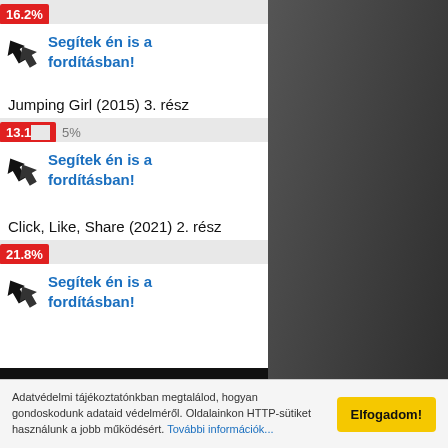16.2%
Segítek én is a fordításban!
Jumping Girl (2015) 3. rész
13.15%
Segítek én is a fordításban!
Click, Like, Share (2021) 2. rész
21.8%
Segítek én is a fordításban!
Ázsia Ékkövei a Facebookon
Adatvédelmi tájékoztatónkban megtalálod, hogyan gondoskodunk adataid védelméről. Oldalainkon HTTP-sütiket használunk a jobb működésért. További információk...